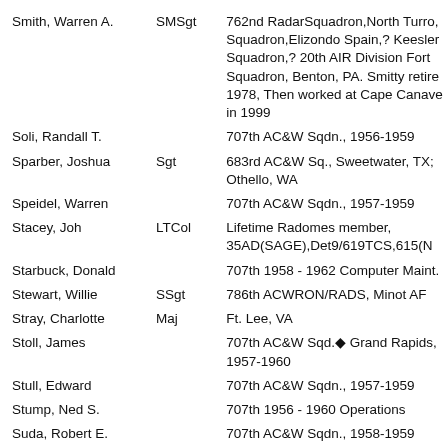| Name | Rank | Information |
| --- | --- | --- |
| Smith, Warren A. | SMSgt | 762nd RadarSquadron,North Turro, Squadron,Elizondo Spain,? Keesler Squadron,? 20th AIR Division Fort Squadron, Benton, PA. Smitty retired 1978, Then worked at Cape Canaveral in 1999 |
| Soli, Randall T. |  | 707th AC&W Sqdn., 1956-1959 |
| Sparber, Joshua | Sgt | 683rd AC&W Sq., Sweetwater, TX; Othello, WA |
| Speidel, Warren |  | 707th AC&W Sqdn., 1957-1959 |
| Stacey, Joh | LTCol | Lifetime Radomes member, 35AD(SAGE),Det9/619TCS,615(N |
| Starbuck, Donald |  | 707th 1958 - 1962 Computer Maint. |
| Stewart, Willie | SSgt | 786th ACWRON/RADS, Minot AFB |
| Stray, Charlotte | Maj | Ft. Lee, VA |
| Stoll, James |  | 707th AC&W Sqd.◆ Grand Rapids, 1957-1960 |
| Stull, Edward |  | 707th AC&W Sqdn., 1957-1959 |
| Stump, Ned S. |  | 707th 1956 - 1960 Operations |
| Suda, Robert E. |  | 707th AC&W Sqdn., 1958-1959 |
| Sunder, Chuck |  | AFRMA member and Lifetime Radomes, served at Sparrevohn, Alaska.and T |